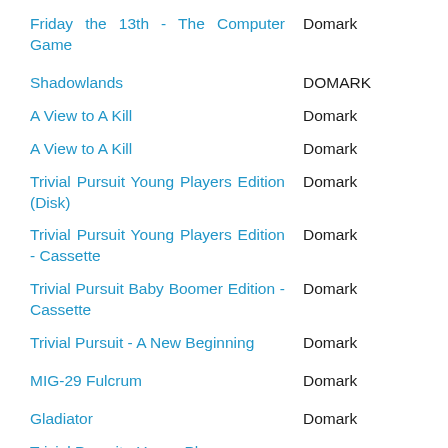Friday the 13th - The Computer Game | Domark
Shadowlands | DOMARK
A View to A Kill | Domark
A View to A Kill | Domark
Trivial Pursuit Young Players Edition (Disk) | Domark
Trivial Pursuit Young Players Edition - Cassette | Domark
Trivial Pursuit Baby Boomer Edition - Cassette | Domark
Trivial Pursuit - A New Beginning | Domark
MIG-29 Fulcrum | Domark
Gladiator | Domark
Trivial Pursuit - Young Players